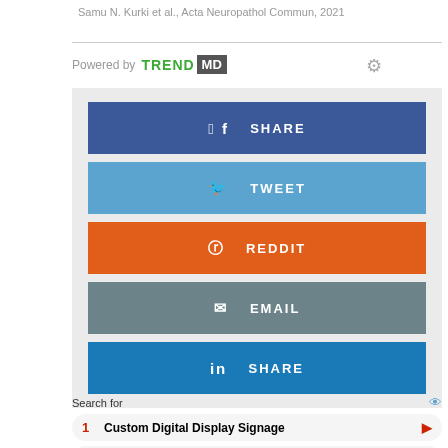Samu N. Kurki et al., Acta Neuropathol Commun, 2021
[Figure (infographic): TrendMD powered-by widget with share buttons: Facebook SHARE (blue), Twitter TWEET (light blue), Reddit REDDIT (orange), Email EMAIL (grey-blue), LinkedIn SHARE (blue). Below are sponsored search results: 1. Custom Digital Display Signage, 2. 5 Easy Ways To Start Investing. Yahoo Search | Sponsored.]